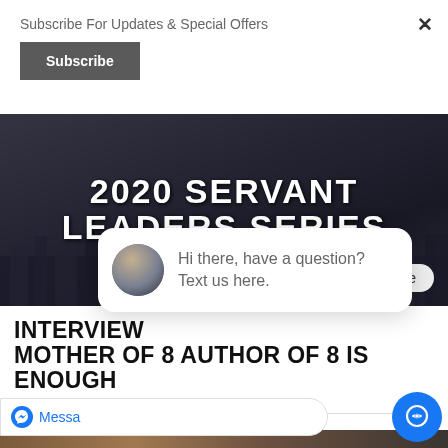Subscribe For Updates & Special Offers
Subscribe
[Figure (photo): Dark city background with large white bold text reading '2020 SERVANT LEADERS SERIES']
close
Hi there, have a question? Text us here.
INTERVIEW WITH MOTHER OF 8 AUTHOR OF 8 IS ENOUGH
5/8/2020
[Figure (photo): Bottom strip of a photo, brownish tones]